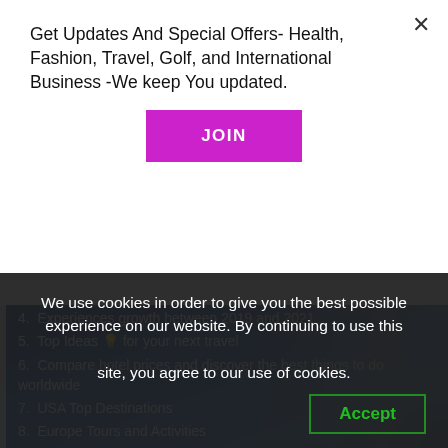Get Updates And Special Offers- Health, Fashion, Travel, Golf, and International Business -We keep You updated.
JOIN
4.  Experiences growth between 2019 and 2021
5.  Top Ideas 💡 for your next travel
6.  Compare hotel prices and discover the best things to do worldwide
7.  USA Top Destinations
8.  Europe Tours and Activities
9.  Visit Scandinavia
10.  Reserve now tours and activities wherever
We use cookies in order to give you the best possible experience on our website. By continuing to use this site, you agree to our use of cookies.
Accept